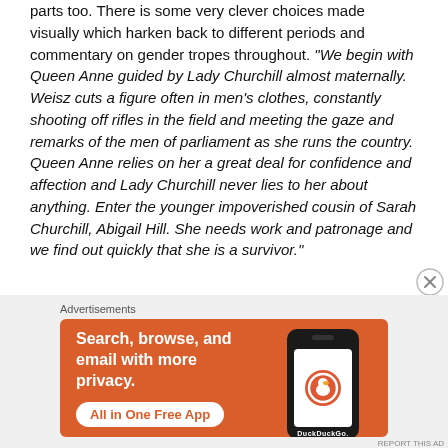parts too. There is some very clever choices made visually which harken back to different periods and commentary on gender tropes throughout. "We begin with Queen Anne guided by Lady Churchill almost maternally. Weisz cuts a figure often in men's clothes, constantly shooting off rifles in the field and meeting the gaze and remarks of the men of parliament as she runs the country. Queen Anne relies on her a great deal for confidence and affection and Lady Churchill never lies to her about anything. Enter the younger impoverished cousin of Sarah Churchill, Abigail Hill. She needs work and patronage and we find out quickly that she is a survivor."
[Figure (other): DuckDuckGo advertisement banner: orange background with white bold text 'Search, browse, and email with more privacy.' and a white button 'All in One Free App', alongside a phone graphic showing the DuckDuckGo logo and the text 'DuckDuckGo.' below]